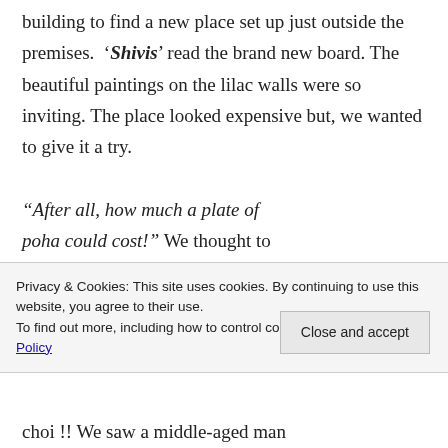building to find a new place set up just outside the premises. 'Shivis' read the brand new board. The beautiful paintings on the lilac walls were so inviting. The place looked expensive but, we wanted to give it a try.
“After all, how much a plate of poha could cost!” We thought to
Privacy & Cookies: This site uses cookies. By continuing to use this website, you agree to their use.
To find out more, including how to control cookies, see here: Cookie Policy
Close and accept
choi !! We saw a middle-aged man